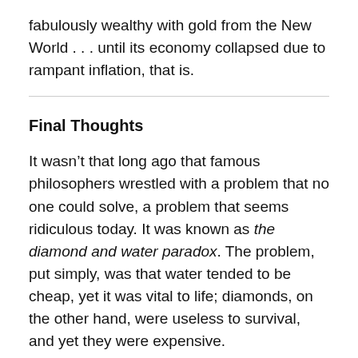fabulously wealthy with gold from the New World . . . until its economy collapsed due to rampant inflation, that is.
Final Thoughts
It wasn't that long ago that famous philosophers wrestled with a problem that no one could solve, a problem that seems ridiculous today. It was known as the diamond and water paradox. The problem, put simply, was that water tended to be cheap, yet it was vital to life; diamonds, on the other hand, were useless to survival, and yet they were expensive.
It seems silly today because we understand that rarity and labor are important, but “supply and demand” is a relatively new phrase. Less than three hundred years ago,